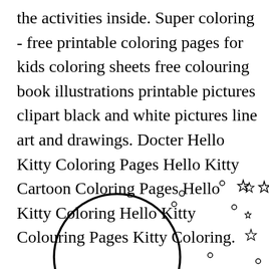the activities inside. Super coloring - free printable coloring pages for kids coloring sheets free colouring book illustrations printable pictures clipart black and white pictures line art and drawings. Docter Hello Kitty Coloring Pages Hello Kitty Cartoon Coloring Pages Hello Kitty Coloring Hello Kitty Colouring Pages Kitty Coloring.
[Figure (illustration): A partial coloring page illustration showing a large circle outline (Hello Kitty head outline) on the left, with scattered small star outlines and small circle outlines of various sizes spread across the lower portion of the page. Also a small circled X symbol near the bottom center.]